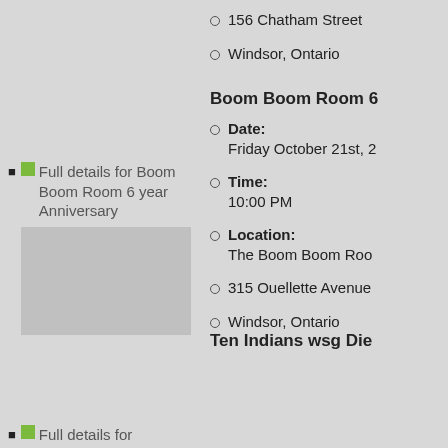156 Chatham Street
Windsor, Ontario
Full details for Boom Boom Room 6 year Anniversary
Boom Boom Room 6
Date: Friday October 21st, 2
Time: 10:00 PM
Location: The Boom Boom Roo
315 Ouellette Avenue
Windsor, Ontario
Full details for
Ten Indians wsg Die